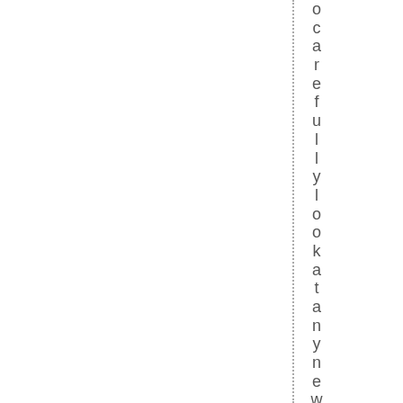o c a r e f u l l y   l o o k a t a n y n e w t e c h n o